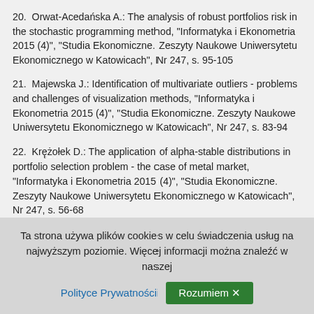20.  Orwat-Acedańska A.: The analysis of robust portfolios risk in the stochastic programming method, "Informatyka i Ekonometria 2015 (4)", "Studia Ekonomiczne. Zeszyty Naukowe Uniwersytetu Ekonomicznego w Katowicach", Nr 247, s. 95-105
21.  Majewska J.: Identification of multivariate outliers - problems and challenges of visualization methods, "Informatyka i Ekonometria 2015 (4)", "Studia Ekonomiczne. Zeszyty Naukowe Uniwersytetu Ekonomicznego w Katowicach", Nr 247, s. 83-94
22.  Krężołek D.: The application of alpha-stable distributions in portfolio selection problem - the case of metal market, "Informatyka i Ekonometria 2015 (4)", "Studia Ekonomiczne. Zeszyty Naukowe Uniwersytetu Ekonomicznego w Katowicach", Nr 247, s. 56-68
23.  Trzpiot G.: Przyszłość demograficzna a logistyka społeczna, "Studia Ekonomiczne. Zeszyty Naukowe Uniwersytetu Ekonomicznego w Katowicach", Nr 249, s. 23-35
Ta strona używa plików cookies w celu świadczenia usług na najwyższym poziomie. Więcej informacji można znaleźć w naszej Polityce Prywatności  Rozumiem ✕